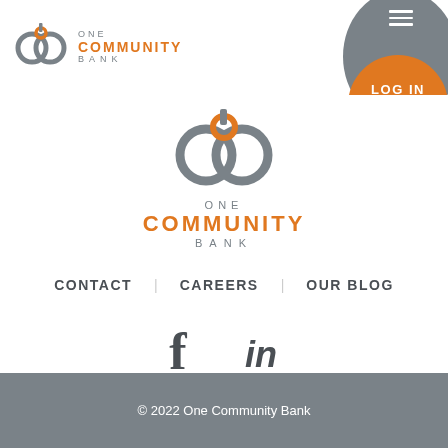[Figure (logo): One Community Bank logo in header - circular OCB icon in gray and orange, with wordmark ONE COMMUNITY BANK]
[Figure (logo): One Community Bank large centered logo - circular OCB icon in gray and orange, with large wordmark ONE COMMUNITY BANK centered on page]
CONTACT   CAREERS   OUR BLOG
[Figure (illustration): Social media icons: Facebook (f) and LinkedIn (in) in dark gray]
© 2022 One Community Bank